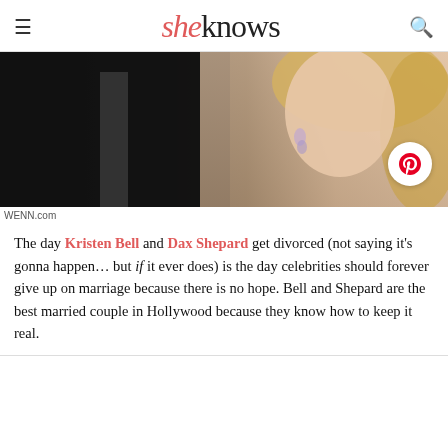sheknows
[Figure (photo): A couple in formal black attire — a man in a dark suit and a woman with blonde hair wearing sparkly earrings — photographed together. A Pinterest share button overlays the bottom right corner of the image.]
WENN.com
The day Kristen Bell and Dax Shepard get divorced (not saying it's gonna happen… but if it ever does) is the day celebrities should forever give up on marriage because there is no hope. Bell and Shepard are the best married couple in Hollywood because they know how to keep it real.